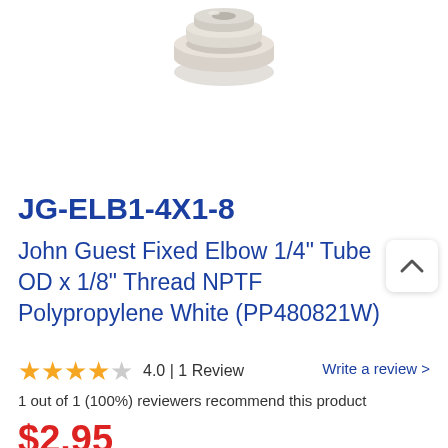[Figure (photo): Product photo of a white polypropylene elbow fitting connector, viewed from above, showing the cap/top of the fitting.]
JG-ELB1-4X1-8
John Guest Fixed Elbow 1/4" Tube OD x 1/8" Thread NPTF Polypropylene White (PP480821W)
4.0 | 1 Review
Write a review >
1 out of 1 (100%) reviewers recommend this product
$2.95